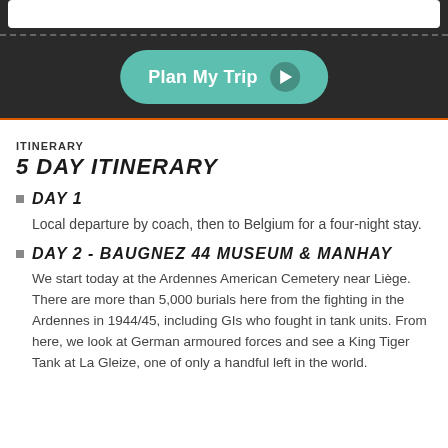[Figure (screenshot): Dark navigation bar with white input field, dashed separator line, and teal 'Plan My Trip' button with play icon]
ITINERARY
5 DAY ITINERARY
DAY 1
Local departure by coach, then to Belgium for a four-night stay.
DAY 2 - BAUGNEZ 44 MUSEUM & MANHAY
We start today at the Ardennes American Cemetery near Liège. There are more than 5,000 burials here from the fighting in the Ardennes in 1944/45, including GIs who fought in tank units. From here, we look at German armoured forces and see a King Tiger Tank at La Gleize, one of only a handful left in the world.